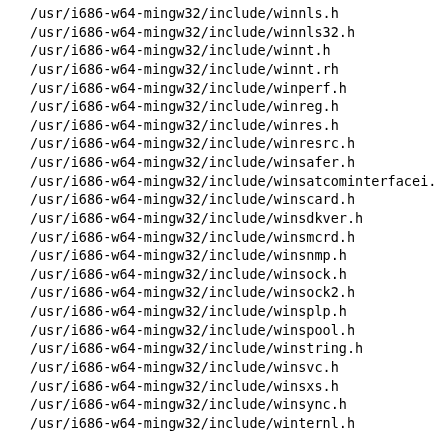/usr/i686-w64-mingw32/include/winnls.h
/usr/i686-w64-mingw32/include/winnls32.h
/usr/i686-w64-mingw32/include/winnt.h
/usr/i686-w64-mingw32/include/winnt.rh
/usr/i686-w64-mingw32/include/winperf.h
/usr/i686-w64-mingw32/include/winreg.h
/usr/i686-w64-mingw32/include/winres.h
/usr/i686-w64-mingw32/include/winresrc.h
/usr/i686-w64-mingw32/include/winsafer.h
/usr/i686-w64-mingw32/include/winsatcominterfacei.
/usr/i686-w64-mingw32/include/winscard.h
/usr/i686-w64-mingw32/include/winsdkver.h
/usr/i686-w64-mingw32/include/winsmcrd.h
/usr/i686-w64-mingw32/include/winsnmp.h
/usr/i686-w64-mingw32/include/winsock.h
/usr/i686-w64-mingw32/include/winsock2.h
/usr/i686-w64-mingw32/include/winsplp.h
/usr/i686-w64-mingw32/include/winspool.h
/usr/i686-w64-mingw32/include/winstring.h
/usr/i686-w64-mingw32/include/winsvc.h
/usr/i686-w64-mingw32/include/winsxs.h
/usr/i686-w64-mingw32/include/winsync.h
/usr/i686-w64-mingw32/include/winternl.h